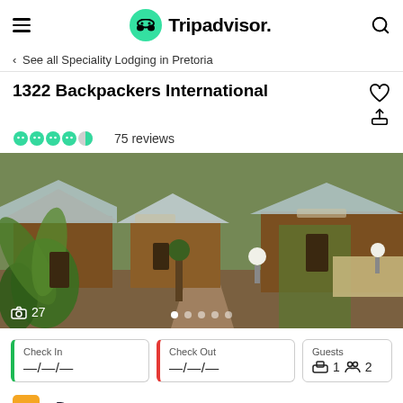Tripadvisor
< See all Speciality Lodging in Pretoria
1322 Backpackers International
75 reviews
[Figure (photo): Outdoor view of 1322 Backpackers International showing wooden cabin-style buildings with corrugated metal roofs, lush tropical plants, palm fronds, ornamental grasses, garden lights, and a stone pathway in Pretoria]
27 photos
| Check In | Check Out | Guests |
| --- | --- | --- |
| —/—/— | —/—/— | 1 room, 2 guests |
eDreams